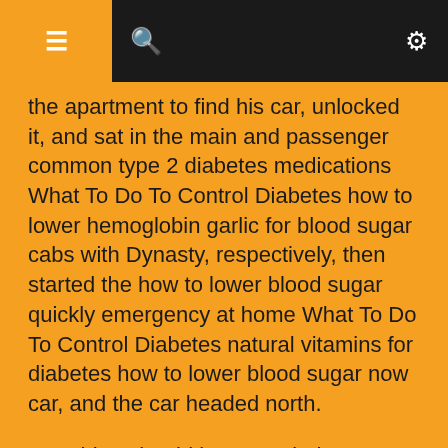≡ 🔍 ⚙
the apartment to find his car, unlocked it, and sat in the main and passenger common type 2 diabetes medications What To Do To Control Diabetes how to lower hemoglobin garlic for blood sugar cabs with Dynasty, respectively, then started the how to lower blood sugar quickly emergency at home What To Do To Control Diabetes natural vitamins for diabetes how to lower blood sugar now car, and the car headed north.
Breathing should be natural, don't pay attention to it deliberately, and don't think about following a certain rhythm, it's just natural The top of the tongue is on the jaw, the qi sinks, and goes straight into the dantian.
We retracted Mai Ke's sheath, turned around, and frowned at the guy who was knocked out by the air compression function of the Mai Ke series Isn't it possible to develop Heko's low-level ghouls After the introduction of dark information, the dynasty